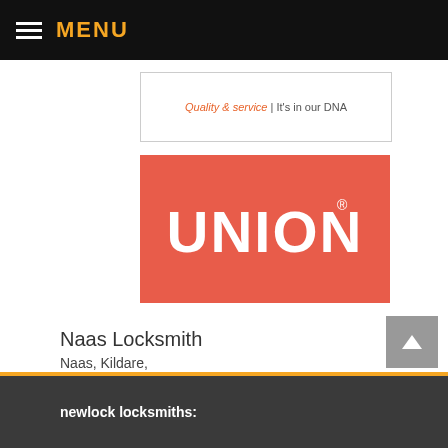MENU
[Figure (logo): Partial card with orange italic text: 'Quality & service | It's in our DNA']
[Figure (logo): UNION brand logo — white bold text 'UNION' with registered trademark symbol on red/coral background]
Naas Locksmith
Naas, Kildare,
Phone: 087 959 7453
Locksmith rating: 4.9 out of 5 with 136 ratings
newlock locksmiths: